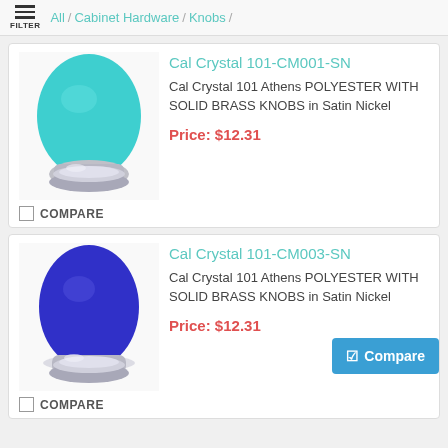FILTER / All / Cabinet Hardware / Knobs /
[Figure (photo): Teal/turquoise egg-shaped polyester knob with satin nickel base]
Cal Crystal 101-CM001-SN
Cal Crystal 101 Athens POLYESTER WITH SOLID BRASS KNOBS in Satin Nickel
Price: $12.31
COMPARE
[Figure (photo): Blue egg-shaped polyester knob with satin nickel base]
Cal Crystal 101-CM003-SN
Cal Crystal 101 Athens POLYESTER WITH SOLID BRASS KNOBS in Satin Nickel
Price: $12.31
Compare
COMPARE